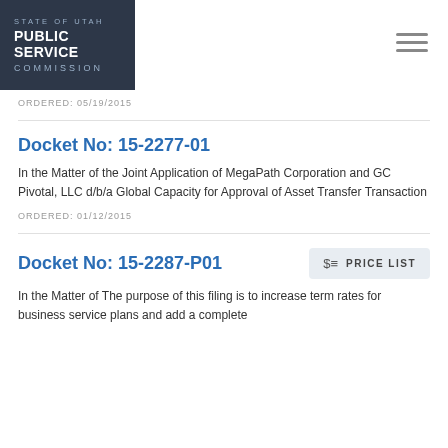STATE OF UTAH PUBLIC SERVICE COMMISSION
ORDERED: 05/19/2015
Docket No: 15-2277-01
In the Matter of the Joint Application of MegaPath Corporation and GC Pivotal, LLC d/b/a Global Capacity for Approval of Asset Transfer Transaction
ORDERED: 01/12/2015
Docket No: 15-2287-P01
In the Matter of The purpose of this filing is to increase term rates for business service plans and add a complete